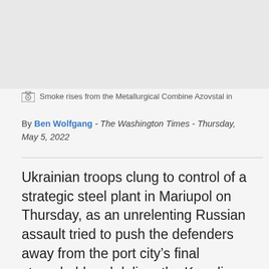[Figure (photo): Gray placeholder image area representing a photo of smoke rising from the Metallurgical Combine Azovstal]
Smoke rises from the Metallurgical Combine Azovstal in
By Ben Wolfgang - The Washington Times - Thursday, May 5, 2022
Ukrainian troops clung to control of a strategic steel plant in Mariupol on Thursday, as an unrelenting Russian assault tried to push the defenders away from the port city’s final stronghold and deliver the Kremlin a victory days ahead of a major Russian military holiday.